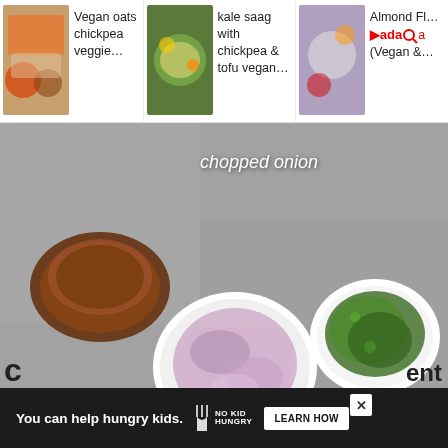[Figure (screenshot): Website screenshot showing a food blog page with recipe navigation thumbnails at top, a main food photography image showing bowls of ingredients labeled 'chopped onion', 'moong bean sprouts', and 'masala blend', a cookie consent banner, and an ad banner at the bottom reading 'You can help hungry kids.' with No Kid Hungry logo and Learn How button.]
Vegan oats chickpea veggie...
kale saag with chickpea & tofu vegan...
Almond Fl... >ada<a... (Vegan &...
chopped onion
moong bean sprouts
masala blend
Privacy & Cookies: This site uses cookies. By continuing to use this website, you agree to their use.
To find out more, including how to control cookies, see here: Cookie Policy
You can help hungry kids.
LEARN HOW